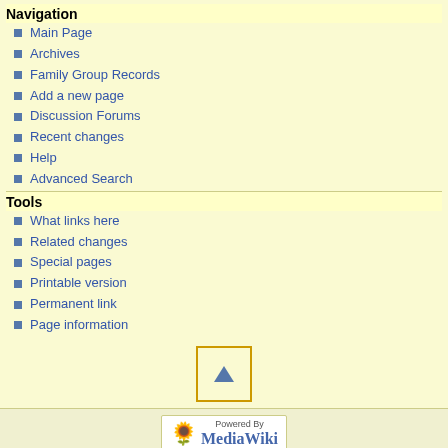Navigation
Main Page
Archives
Family Group Records
Add a new page
Discussion Forums
Recent changes
Help
Advanced Search
Tools
What links here
Related changes
Special pages
Printable version
Permanent link
Page information
[Figure (other): Scroll to top button with upward triangle arrow]
[Figure (logo): Powered by MediaWiki badge with sunflower logo]
This page was last edited on 22 May 2008, at 20:34.   Privacy policy   About WRG   Disclaimers